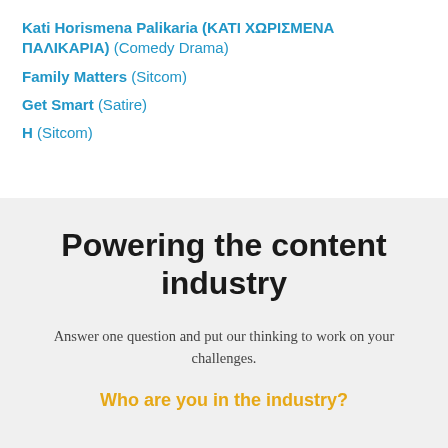Kati Horismena Palikaria (KATI ΧΩΡΙΣΜΕΝΑ ΠΑΛΙΚΑΡΙΑ) (Comedy Drama)
Family Matters (Sitcom)
Get Smart (Satire)
H (Sitcom)
Powering the content industry
Answer one question and put our thinking to work on your challenges.
Who are you in the industry?